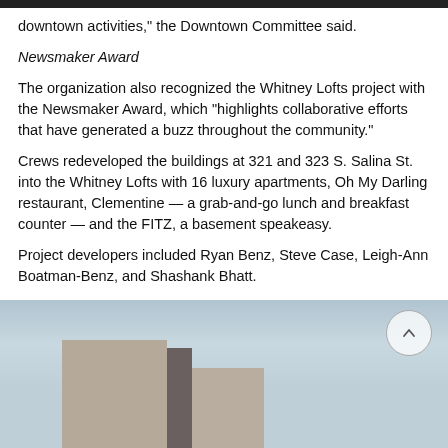downtown activities," the Downtown Committee said.
Newsmaker Award
The organization also recognized the Whitney Lofts project with the Newsmaker Award, which “highlights collaborative efforts that have generated a buzz throughout the community.”
Crews redeveloped the buildings at 321 and 323 S. Salina St. into the Whitney Lofts with 16 luxury apartments, Oh My Darling restaurant, Clementine — a grab-and-go lunch and breakfast counter — and the FITZ, a basement speakeasy.
Project developers included Ryan Benz, Steve Case, Leigh-Ann Boatman-Benz, and Shashank Bhatt.
[Figure (photo): Exterior photo of the Whitney Lofts buildings at 321 and 323 S. Salina St., showing concrete brutalist-style structures against a light sky.]